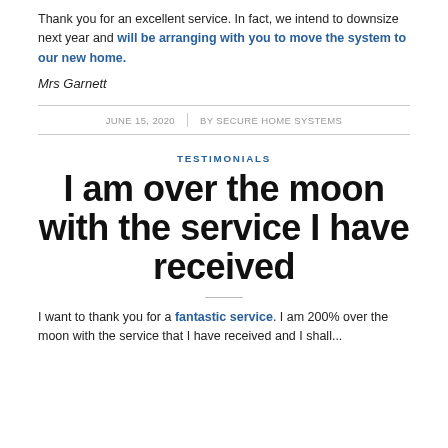Thank you for an excellent service. In fact, we intend to downsize next year and will be arranging with you to move the system to our new home.
Mrs Garnett
JUNE 15, 2020 | BY SECURE HOME SYSTEMS
TESTIMONIALS
I am over the moon with the service I have received
I want to thank you for a fantastic service. I am 200% over the moon with the service that I have received and I shall...